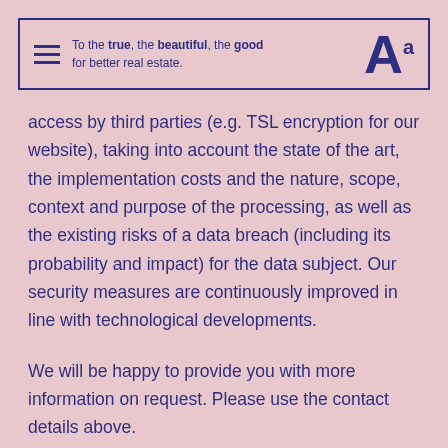To the true, the beautiful, the good for better real estate.
access by third parties (e.g. TSL encryption for our website), taking into account the state of the art, the implementation costs and the nature, scope, context and purpose of the processing, as well as the existing risks of a data breach (including its probability and impact) for the data subject. Our security measures are continuously improved in line with technological developments.
We will be happy to provide you with more information on request. Please use the contact details above.